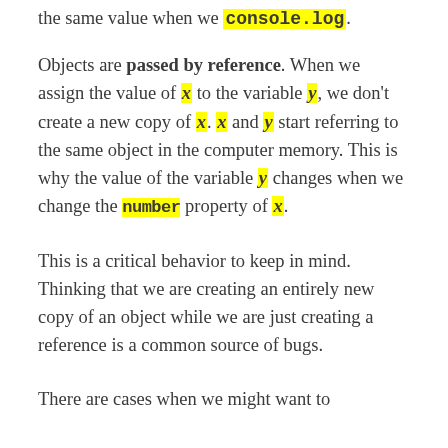the same value when we console.log.
Objects are passed by reference. When we assign the value of x to the variable y, we don't create a new copy of x. x and y start referring to the same object in the computer memory. This is why the value of the variable y changes when we change the number property of x.
This is a critical behavior to keep in mind. Thinking that we are creating an entirely new copy of an object while we are just creating a reference is a common source of bugs.
There are cases when we might want to